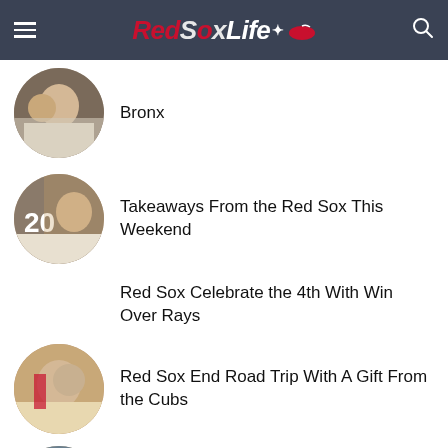RedSoxLife
Bronx
Takeaways From the Red Sox This Weekend
Red Sox Celebrate the 4th With Win Over Rays
Red Sox End Road Trip With A Gift From the Cubs
Red Sox Continue Sizzling June With Sweep of Cleveland